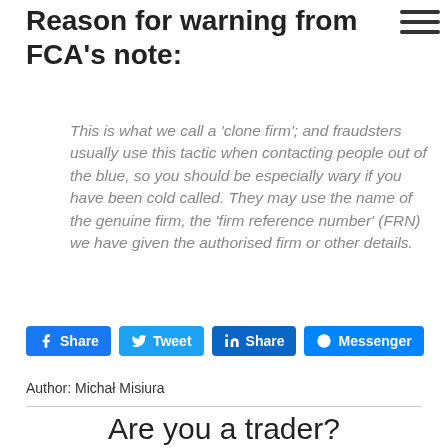Reason for warning from FCA's note:
This is what we call a 'clone firm'; and fraudsters usually use this tactic when contacting people out of the blue, so you should be especially wary if you have been cold called. They may use the name of the genuine firm, the 'firm reference number' (FRN) we have given the authorised firm or other details.
Share | Tweet | Share | Messenger
Author: Michał Misiura
Are you a trader?
Help others and rate your broker! Use the search engine or find your broker